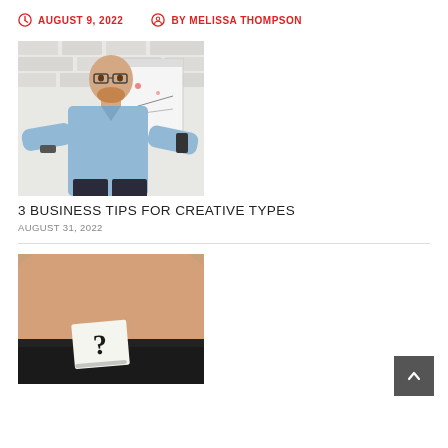AUGUST 9, 2022   BY MELISSA THOMPSON
[Figure (photo): Bald bearded man in light blue shirt standing with arms out in front of a whiteboard with charts, brick wall background]
3 BUSINESS TIPS FOR CREATIVE TYPES
AUGUST 31, 2022
[Figure (photo): Close-up of a person's midsection wearing black underwear with a paper card showing a question mark]